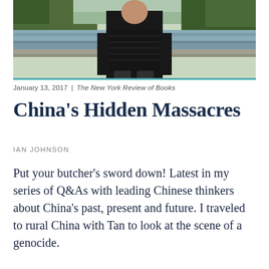[Figure (photo): A person in a black puffer jacket standing in front of a canal or river, with trees and greenery in the background. The image is cropped showing the person from about the waist up.]
January 13, 2017 | The New York Review of Books
China's Hidden Massacres
IAN JOHNSON
Put your butcher's sword down! Latest in my series of Q&As with leading Chinese thinkers about China's past, present and future. I traveled to rural China with Tan to look at the scene of a genocide.